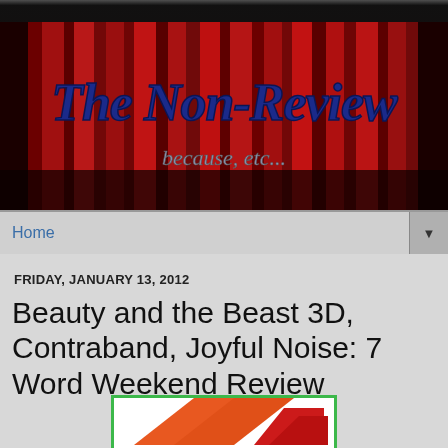[Figure (logo): The Non-Review website banner with red theater curtain background and italic blue metallic title text 'The Non-Review' with tagline 'because, etc...']
Home
FRIDAY, JANUARY 13, 2012
Beauty and the Beast 3D, Contraband, Joyful Noise: 7 Word Weekend Review
[Figure (other): Partial view of a movie-related image with orange/red diagonal shapes on white background with green border]